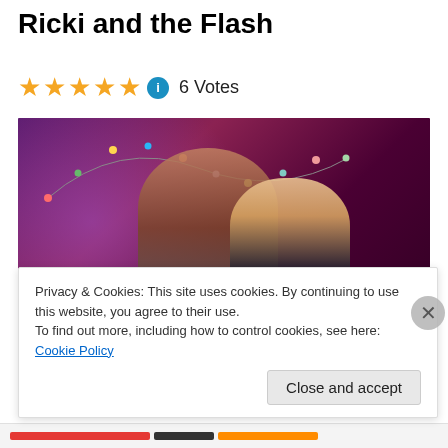Ricki and the Flash
★★★★★ ⓘ 6 Votes
[Figure (photo): Two musicians performing on a dark stage with string lights. A male guitarist with long hair and tattoos stands behind a blonde female vocalist/guitarist singing into a microphone. Both are lit with purple/pink stage lighting.]
Privacy & Cookies: This site uses cookies. By continuing to use this website, you agree to their use.
To find out more, including how to control cookies, see here: Cookie Policy
Close and accept